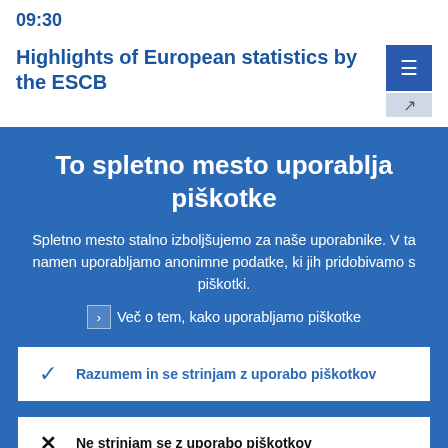09:30
Highlights of European statistics by the ESCB
To spletno mesto uporablja piškotke
Spletno mesto stalno izboljšujemo za naše uporabnike. V ta namen uporabljamo anonimne podatke, ki jih pridobivamo s piškotki.
› Več o tem, kako uporabljamo piškotke
✓ Razumem in se strinjam z uporabo piškotkov
✕ Ne strinjam se z uporabo piškotkov